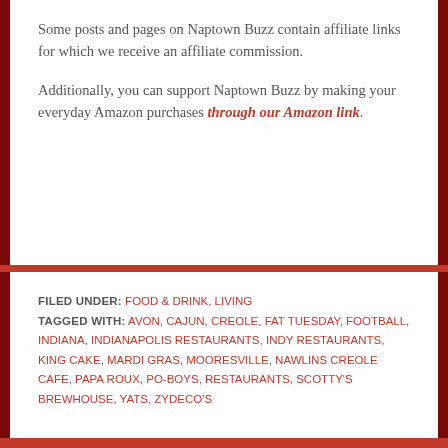Some posts and pages on Naptown Buzz contain affiliate links for which we receive an affiliate commission.
Additionally, you can support Naptown Buzz by making your everyday Amazon purchases through our Amazon link.
FILED UNDER: FOOD & DRINK, LIVING
TAGGED WITH: AVON, CAJUN, CREOLE, FAT TUESDAY, FOOTBALL, INDIANA, INDIANAPOLIS RESTAURANTS, INDY RESTAURANTS, KING CAKE, MARDI GRAS, MOORESVILLE, NAWLINS CREOLE CAFE, PAPA ROUX, PO-BOYS, RESTAURANTS, SCOTTY'S BREWHOUSE, YATS, ZYDECO'S